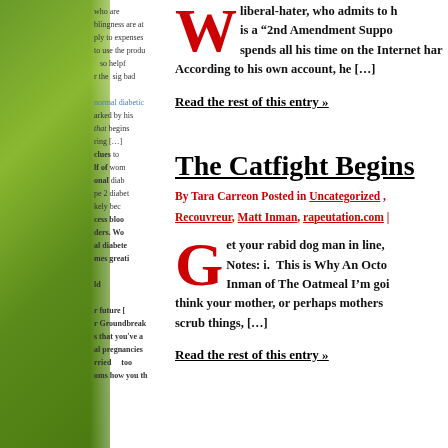[Figure (photo): Green apple or vegetable background image on left side of page spread]
who are blingness are at ply to expenses to use the produ so helpf the sig bad normal diabetic arked by his that begins ring clues to lf of wom onal diabe pe 2 diabet kely bec cess bloo ders. Wo al diabete mes greati ld r future r Groundbreak s that you've al pregnancies rried too oms how you th
liberal-hater, who admits to h is a "2nd Amendment Suppo spends all his time on the Internet har According to his own account, he […]
Read the rest of this entry »
The Catfight Begins
By Tara Carreon Posted in Uncategorized , Recouvreur, Matt Inman, rapeutation.com |
et your rabid dog man in line, Notes: i.  This is Why An Octo Inman of The Oatmeal I'm goi think your mother, or perhaps mothers scrub things, […]
Read the rest of this entry »